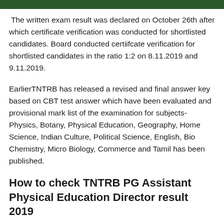[Figure (other): Dark green header bar at top of page]
The written exam result was declared on October 26th after which certificate verification was conducted for shortlisted candidates. Board conducted certiifcate verification for shortlisted candidates in the ratio 1:2 on 8.11.2019 and 9.11.2019.
EarlierTNTRB has released a revised and final answer key based on CBT test answer which have been evaluated and provisional mark list of the examination for subjects- Physics, Botany, Physical Education, Geography, Home Science, Indian Culture, Political Science, English, Bio Chemistry, Micro Biology, Commerce and Tamil has been published.
How to check TNTRB PG Assistant Physical Education Director result 2019
Visit the official website – http://trb.tn.nic.in.